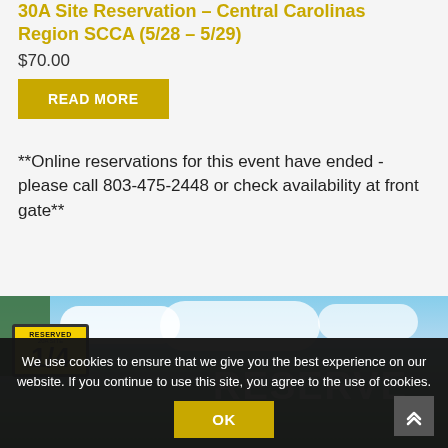30A Site Reservation – Central Carolinas Region SCCA (5/28 – 5/29)
$70.00
READ MORE
**Online reservations for this event have ended - please call 803-475-2448 or check availability at front gate**
[Figure (photo): Outdoor photo showing a yellow reserved parking sign labeled '20A SITE 1/4' with a large 'RESERVE' text sign and trees and clouds in the background.]
We use cookies to ensure that we give you the best experience on our website. If you continue to use this site, you agree to the use of cookies.
OK